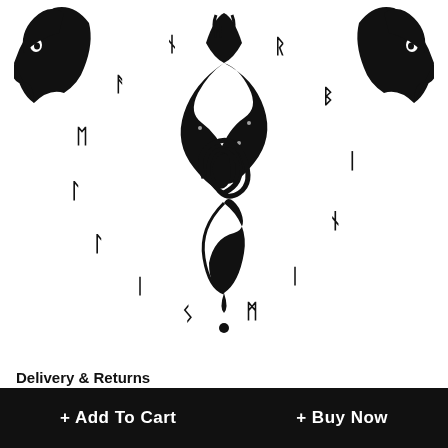[Figure (illustration): Black and white illustration of a fantasy/Viking-style emblem featuring two dragon or creature heads on the sides, a central serpent/dragon caduceus-like symbol, surrounded by a circle of runic characters arranged in a ring pattern.]
Delivery & Returns
+ Add To Cart
+ Buy Now